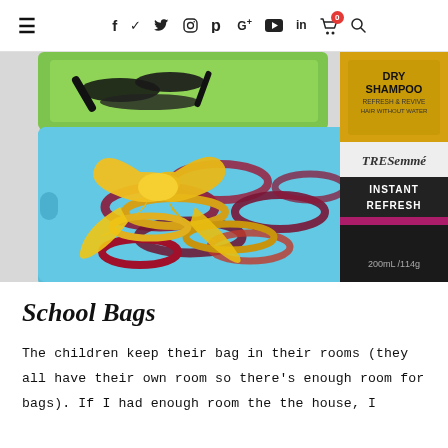≡  f  twitter  instagram  pinterest  G+  youtube  in  cart(0)  search
[Figure (photo): Photo of a blue plastic storage bin filled with colorful hair ties and a yellow satin bow, with a green tray above holding black hair clips, and a TRESemmé Dry Shampoo Instant Refresh can on the right side.]
School Bags
The children keep their bag in their rooms (they all have their own room so there's enough room for bags). If I had enough room the the house, I